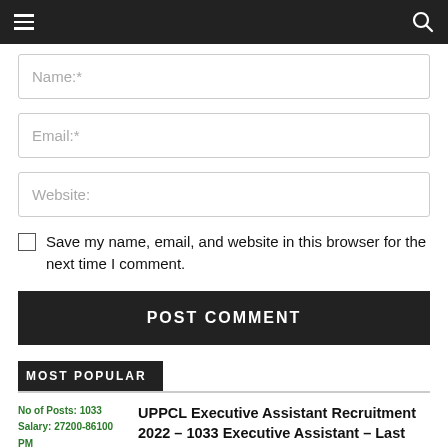Navigation bar with hamburger menu and search icon
Name:*
Email:*
Website:
Save my name, email, and website in this browser for the next time I comment.
POST COMMENT
MOST POPULAR
No of Posts: 1033
Salary: 27200-86100 PM
Age: 21-40 years
UPPCL Executive Assistant Recruitment 2022 – 1033 Executive Assistant – Last